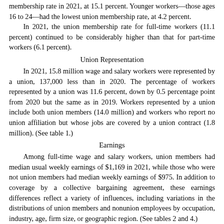membership rate in 2021, at 15.1 percent. Younger workers—those ages 16 to 24—had the lowest union membership rate, at 4.2 percent.
In 2021, the union membership rate for full-time workers (11.1 percent) continued to be considerably higher than that for part-time workers (6.1 percent).
Union Representation
In 2021, 15.8 million wage and salary workers were represented by a union, 137,000 less than in 2020. The percentage of workers represented by a union was 11.6 percent, down by 0.5 percentage point from 2020 but the same as in 2019. Workers represented by a union include both union members (14.0 million) and workers who report no union affiliation but whose jobs are covered by a union contract (1.8 million). (See table 1.)
Earnings
Among full-time wage and salary workers, union members had median usual weekly earnings of $1,169 in 2021, while those who were not union members had median weekly earnings of $975. In addition to coverage by a collective bargaining agreement, these earnings differences reflect a variety of influences, including variations in the distributions of union members and nonunion employees by occupation, industry, age, firm size, or geographic region. (See tables 2 and 4.)
Union Membership by State
In 2021, 30 states and the District of Columbia had union membership rates below that of the U.S. average, 10.3 percent, while 20 states had rates above it. All states in both the East South